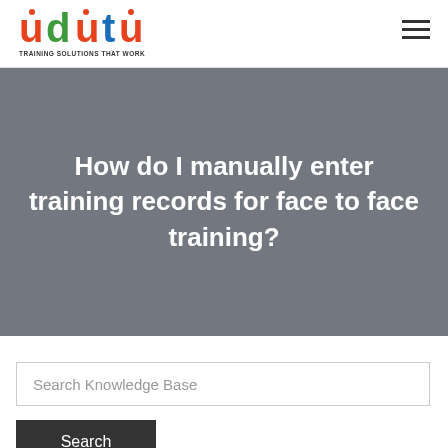[Figure (logo): udutu logo with tagline TRAINING SOLUTIONS THAT WORK]
How do I manually enter training records for face to face training?
Search Knowledge Base
Search